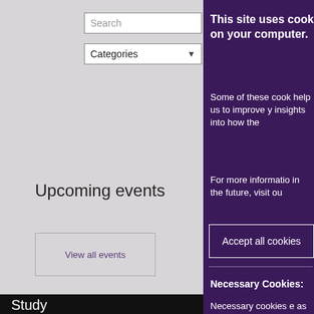Search
Categories
Upcoming events
View all events
Study
Using our site / legal
Explore
This site uses cook on your computer.
Some of these cook help us to improve y insights into how the
For more informatio in the future, visit ou
Accept all cookies
Necessary Cookies:
Necessary cookies e as page navigation